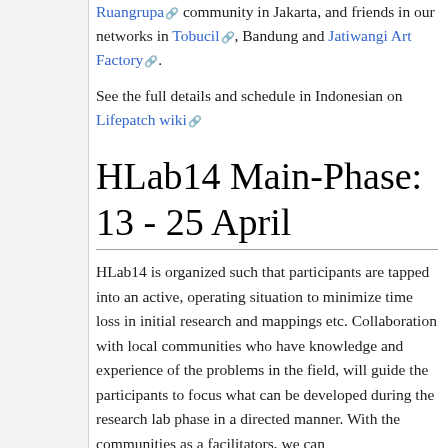Ruangrupa community in Jakarta, and friends in our networks in Tobucil, Bandung and Jatiwangi Art Factory.
See the full details and schedule in Indonesian on Lifepatch wiki
HLab14 Main-Phase: 13 - 25 April
HLab14 is organized such that participants are tapped into an active, operating situation to minimize time loss in initial research and mappings etc. Collaboration with local communities who have knowledge and experience of the problems in the field, will guide the participants to focus what can be developed during the research lab phase in a directed manner. With the communities as a facilitators, we can